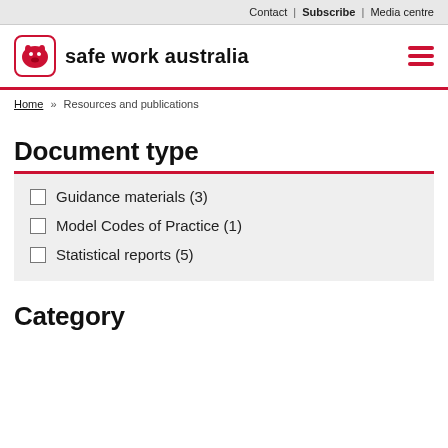Contact | Subscribe | Media centre
[Figure (logo): Safe Work Australia logo with wombat icon and bold text 'safe work australia']
Home » Resources and publications
Document type
Guidance materials (3)
Model Codes of Practice (1)
Statistical reports (5)
Category